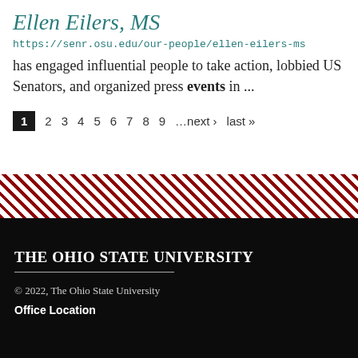Ellen Eilers, MS
https://senr.osu.edu/our-people/ellen-eilers-ms
has engaged influential people to take action, lobbied US Senators, and organized press events in ...
1 2 3 4 5 6 7 8 9 …next › last »
[Figure (other): Diagonal red and white stripe decorative bar]
The Ohio State University
© 2022, The Ohio State University
Office Location